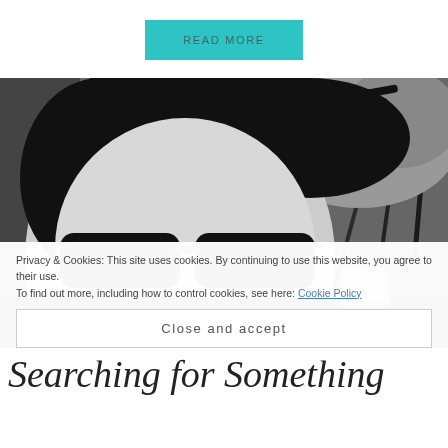READ MORE
[Figure (photo): Black and white selfie photo of a person wearing sunglasses, with wind-blown hair, taken from a low angle outdoors.]
Privacy & Cookies: This site uses cookies. By continuing to use this website, you agree to their use.
To find out more, including how to control cookies, see here: Cookie Policy
Close and accept